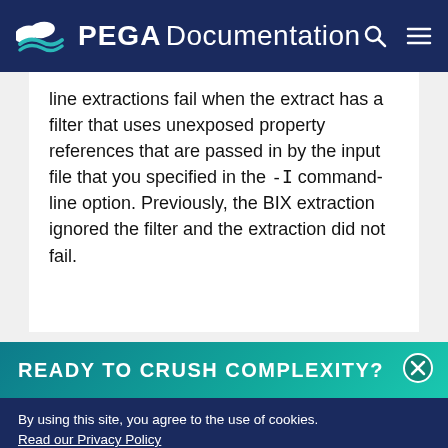PEGA Documentation
line extractions fail when the extract has a filter that uses unexposed property references that are passed in by the input file that you specified in the -I command-line option. Previously, the BIX extraction ignored the filter and the extraction did not fail.
READY TO CRUSH COMPLEXITY?
By using this site, you agree to the use of cookies. Read our Privacy Policy
Accept and continue   About cookies